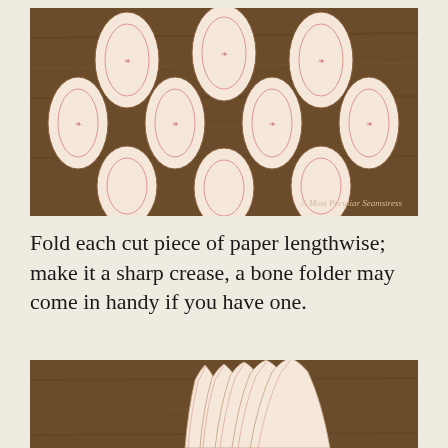[Figure (photo): Overhead photo on brown wood surface showing multiple ornamental leaf/petal shapes cut from decorative red-and-cream floral patterned paper arranged in a grid pattern. Watermark reads 'A Most Peculiar Seamstress' in lower right.]
Fold each cut piece of paper lengthwise; make it a sharp crease, a bone folder may come in handy if you have one.
[Figure (photo): Close-up photo on brown wood surface showing several pieces of red-and-cream floral patterned paper folded lengthwise, fanned out slightly to show the creased edges.]